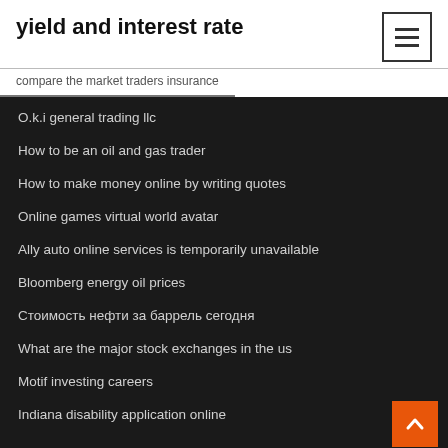yield and interest rate
compare the market traders insurance
O.k.i general trading llc
How to be an oil and gas trader
How to make money online by writing quotes
Online games virtual world avatar
Ally auto online services is temporarily unavailable
Bloomberg energy oil prices
Стоимость нефти за баррель сегодня
What are the major stock exchanges in the us
Motif investing careers
Indiana disability application online